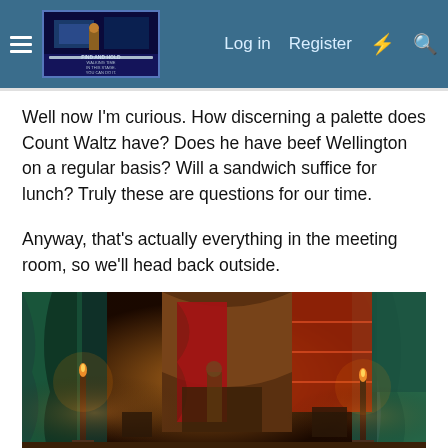Navigation bar with hamburger menu, logo image, Log in, Register links and icons
Well now I'm curious. How discerning a palette does Count Waltz have? Does he have beef Wellington on a regular basis? Will a sandwich suffice for lunch? Truly these are questions for our time.
Anyway, that's actually everything in the meeting room, so we'll head back outside.
[Figure (screenshot): Game screenshot showing an ornate tent interior with warm candlelight, colorful drapes and decorations. A dialogue box at the bottom reads: Don't tell anyone you heard it from me, but there are some nasty rumors floating around about the mineral powder.]